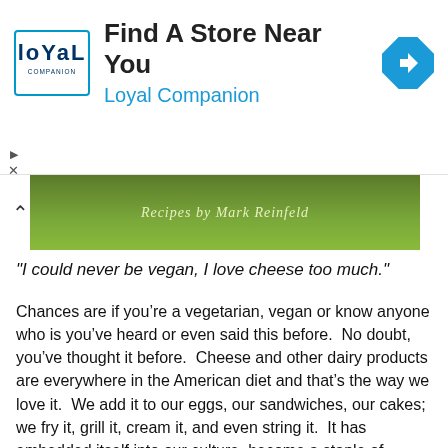[Figure (infographic): Ad banner for Loyal Companion pet store with logo, text 'Find A Store Near You / Loyal Companion', and a blue navigation arrow icon]
[Figure (photo): Book cover strip showing italic text 'Recipes by Mark Reinfeld' on an olive/green background]
"I could never be vegan, I love cheese too much."
Chances are if you’re a vegetarian, vegan or know anyone who is you’ve heard or even said this before.  No doubt, you’ve thought it before.  Cheese and other dairy products are everywhere in the American diet and that’s the way we love it.  We add it to our eggs, our sandwiches, our cakes; we fry it, grill it, cream it, and even string it.  It has embedded itself into our culture, become a staple of comfort in our diet and adopted the term “American”.  But is it really good; not just for us, but for those that produce it?